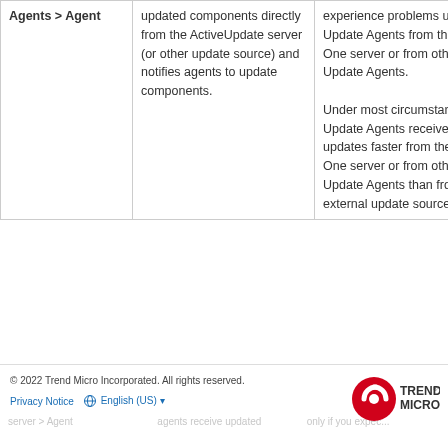| Agents > Agent |  |  |
| --- | --- | --- |
| Agents > Agent | updated components directly from the ActiveUpdate server (or other update source) and notifies agents to update components. | experience problems updating Update Agents from the Apex One server or from other Update Agents.

Under most circumstances, Update Agents receive updates faster from the Apex One server or from other Update Agents than from an external update source. |
© 2022 Trend Micro Incorporated. All rights reserved.
Privacy Notice | English (US)